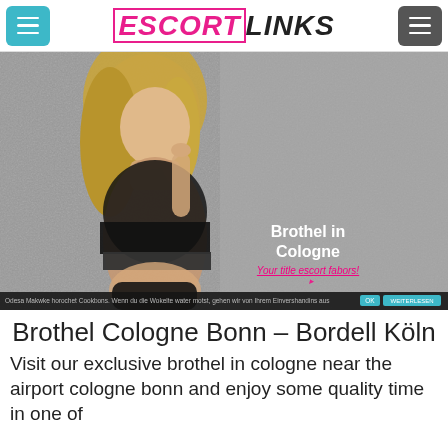ESCORT LINKS
[Figure (photo): Woman posing in black lace lingerie against a grey concrete wall, with overlay text 'Brothel in Cologne' and a pink italic call-to-action link]
Brothel Cologne Bonn – Bordell Köln
Visit our exclusive brothel in cologne near the airport cologne bonn and enjoy some quality time in one of